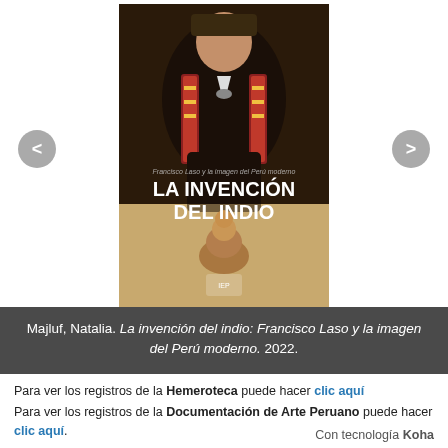[Figure (illustration): Book cover of 'La invención del indio: Francisco Laso y la imagen del Perú moderno' (2022) by Natalia Majluf, published by IEP. Cover shows a painting of an indigenous Peruvian figure in traditional dress with a small ceramic figurine in the foreground. Navigation arrows (< and >) appear on left and right sides.]
Majluf, Natalia. La invención del indio: Francisco Laso y la imagen del Perú moderno. 2022.
Para ver los registros de la Hemeroteca puede hacer clic aquí
Para ver los registros de la Documentación de Arte Peruano puede hacer clic aquí.
Con tecnología Koha